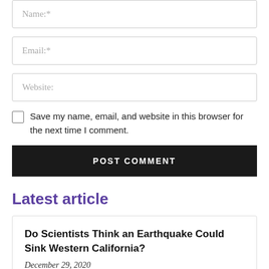[Figure (screenshot): Form input field with placeholder text 'Name:*']
[Figure (screenshot): Form input field with placeholder text 'Email:*']
[Figure (screenshot): Form input field with placeholder text 'Website:']
Save my name, email, and website in this browser for the next time I comment.
POST COMMENT
Latest article
Do Scientists Think an Earthquake Could Sink Western California?
December 29, 2020